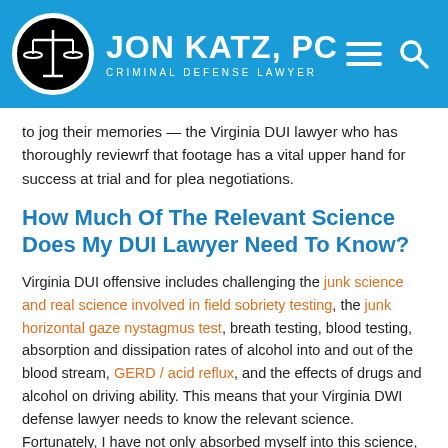Jon Katz, PC — Criminal Defense Lawyer
to jog their memories — the Virginia DUI lawyer who has thoroughly reviewrf that footage has a vital upper hand for success at trial and for plea negotiations.
How Much Of The Relevant Science Does My DUI Lawyer Need To Know?
Virginia DUI offensive includes challenging the junk science and real science involved in field sobriety testing, the junk horizontal gaze nystagmus test, breath testing, blood testing, absorption and dissipation rates of alcohol into and out of the blood stream, GERD / acid reflux, and the effects of drugs and alcohol on driving ability. This means that your Virginia DWI defense lawyer needs to know the relevant science. Fortunately, I have not only absorbed myself into this science, but have also learned from several experts in challenging the reliability and admissibility of blood and breath testing and about acid reflux. With my pre-law